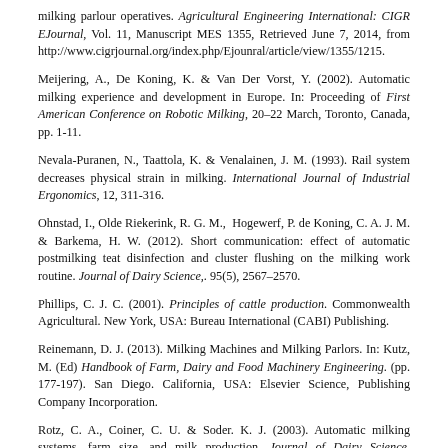milking parlour operatives. Agricultural Engineering International: CIGR EJournal, Vol. 11, Manuscript MES 1355, Retrieved June 7, 2014, from http://www.cigrjournal.org/index.php/Ejounral/article/view/1355/1215.
Meijering, A., De Koning, K. & Van Der Vorst, Y. (2002). Automatic milking experience and development in Europe. In: Proceeding of First American Conference on Robotic Milking, 20–22 March, Toronto, Canada, pp. 1-11.
Nevala-Puranen, N., Taattola, K. & Venalainen, J. M. (1993). Rail system decreases physical strain in milking. International Journal of Industrial Ergonomics, 12, 311-316.
Ohnstad, I., Olde Riekerink, R. G. M., Hogewerf, P. de Koning, C. A. J. M. & Barkema, H. W. (2012). Short communication: effect of automatic postmilking teat disinfection and cluster flushing on the milking work routine. Journal of Dairy Science,. 95(5), 2567–2570.
Phillips, C. J. C. (2001). Principles of cattle production. Commonwealth Agricultural. New York, USA: Bureau International (CABI) Publishing.
Reinemann, D. J. (2013). Milking Machines and Milking Parlors. In: Kutz, M. (Ed) Handbook of Farm, Dairy and Food Machinery Engineering. (pp. 177-197). San Diego. California, USA: Elsevier Science, Publishing Company Incorporation.
Rotz, C. A., Coiner, C. U. & Soder. K. J. (2003). Automatic milking systems, farm size, and milk production. Journal of Dairy Science, 86(12):4167–4177.